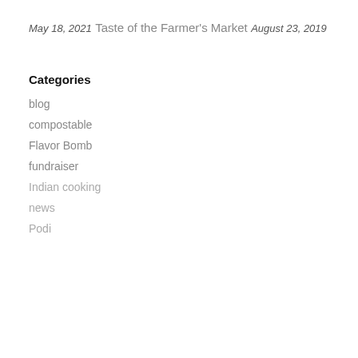May 18, 2021
Taste of the Farmer's Market
August 23, 2019
Categories
blog
compostable
Flavor Bomb
fundraiser
Indian cooking
news
Podi